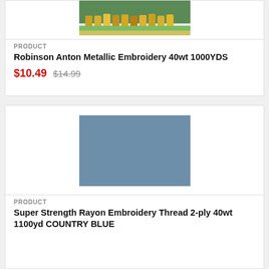[Figure (photo): Product image of Robinson Anton Metallic Embroidery thread spool in green and yellow packaging, partially cropped at top]
PRODUCT
Robinson Anton Metallic Embroidery 40wt 1000YDS
$10.49 $14.99
[Figure (photo): Solid steel blue / country blue colored square image representing Super Strength Rayon Embroidery Thread color swatch]
PRODUCT
Super Strength Rayon Embroidery Thread 2-ply 40wt 1100yd COUNTRY BLUE